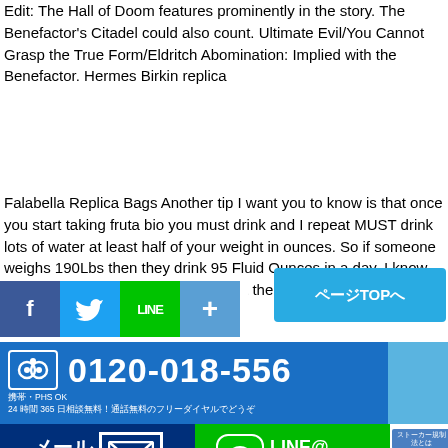Edit: The Hall of Doom features prominently in the story. The Benefactor's Citadel could also count. Ultimate Evil/You Cannot Grasp the True Form/Eldritch Abomination: Implied with the Benefactor. Hermes Birkin replica
Falabella Replica Bags Another tip I want you to know is that once you start taking fruta bio you must drink and I repeat MUST drink lots of water at least half of your weight in ounces. So if someone weighs 190Lbs then they drink 95 Fluid Ounces in a day. I know that a lot but if you cant drink all of it then just make sure your drinking more water thank juice or ...the long run
[Figure (infographic): Social share buttons: Facebook, Twitter, LINE, and share (+) buttons in a horizontal row]
[Figure (infographic): Blue button labelled ページTOPへ (Back to page top)]
[Figure (infographic): Blue phone banner with TripAdvisor owl icon, phone number 0120-018-556, and text: 携帯・PHS OK 24時間 365日相談無料！通話無料のフリーダイヤルでどうぞ]
[Figure (infographic): Dark blue メール・ご相談 (mail/contact) CTA button with envelope icon, and green LINE@ CTA button with LINE icon and 友達登録ですぐ無料相談 text]
証言　プライバシーポリシー　メディア情報　テレビ出演および利利取材情報　不動産調査　人探し・行方調査　家出人接案 1　会社概要